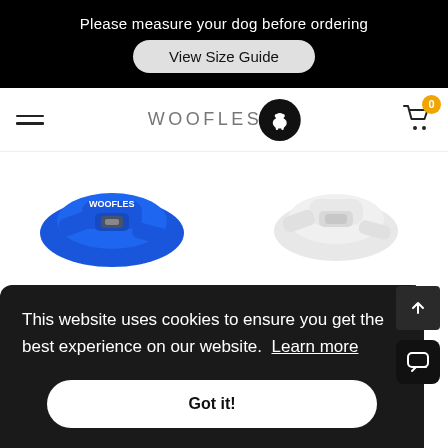Please measure your dog before ordering
View Size Guide
[Figure (screenshot): Woofles logo: text 'WOOFLES' with a black circle containing a white dog silhouette]
[Figure (photo): Blue Endurance Harness product image]
Endurance Harness - Blue
£25.95
[Figure (photo): Black Endurance Harness product image (white/grey placeholder)]
Endurance Harness - Black
£25.95
This website uses cookies to ensure you get the best experience on our website.  Learn more
Got it!